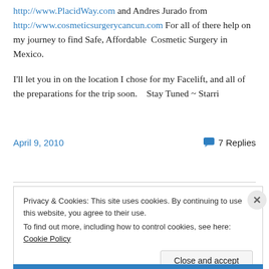http://www.PlacidWay.com and Andres Jurado from http://www.cosmeticsurgerycancun.com For all of there help on my journey to find Safe, Affordable Cosmetic Surgery in Mexico.
I'll let you in on the location I chose for my Facelift, and all of the preparations for the trip soon.   Stay Tuned ~ Starri
April 9, 2010    💬 7 Replies
Privacy & Cookies: This site uses cookies. By continuing to use this website, you agree to their use.
To find out more, including how to control cookies, see here: Cookie Policy